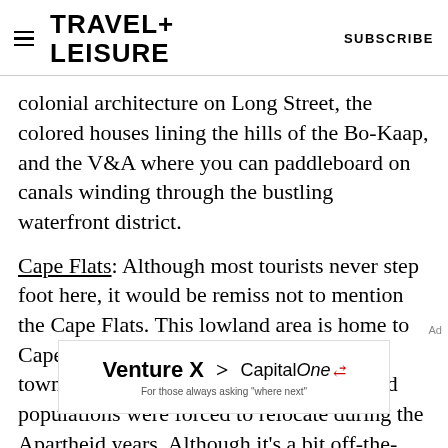TRAVEL+ LEISURE   SUBSCRIBE
colonial architecture on Long Street, the colored houses lining the hills of the Bo-Kaap, and the V&A where you can paddleboard on canals winding through the bustling waterfront district.
Cape Flats: Although most tourists never step foot here, it would be remiss not to mention the Cape Flats. This lowland area is home to Cape Town's most infamous suburbs or townships. It's where the black and colored populations were forced to relocate during the Apartheid years. Although it's a bit off-the-beaten tourist path, it is possible to visit the townships with a guide and learn about life in
[Figure (other): Capital One Venture X advertisement banner: 'Venture X  > CapitalOne  For those always asking "where next"']